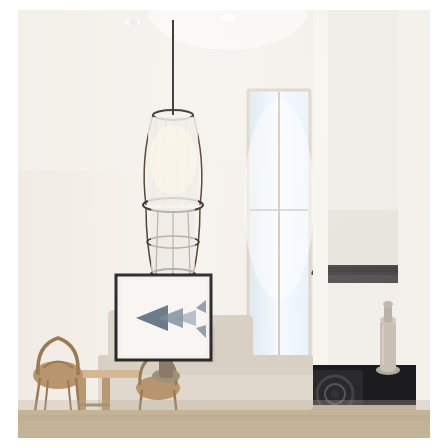[Figure (photo): Interior photograph of a modern, bright open-plan kitchen and dining area with high ceilings. A large pendant chandelier with a white fabric drum shade and cage-style black metal frame hangs on the left. Below it is a framed artwork depicting a blue arrow/fish shape. A small round dining table with bentwood chairs and a small potted plant sits in the lower left. A built-in bench seat with cushions and throw pillows extends along the center. On the right is a professional stainless steel gas range cooktop with a large white range hood above. A tall narrow window in the center-background provides bright natural light. Walls are white/cream throughout. A chrome/silver bottle or decanter sits on the cooktop surface.]